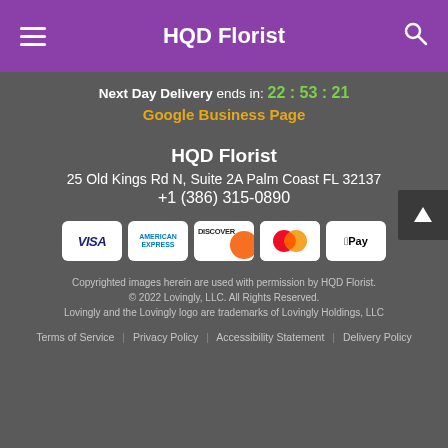HQD Florist
Next Day Delivery ends in: 22 : 53 : 21
Google Business Page
HQD Florist
25 Old Kings Rd N, Suite 2A Palm Coast FL 32137
+1 (386) 315-0890
[Figure (other): Payment method icons: VISA, American Express, Discover, Mastercard, Apple Pay]
Copyrighted images herein are used with permission by HQD Florist.
© 2022 Lovingly, LLC. All Rights Reserved.
Lovingly and the Lovingly logo are trademarks of Lovingly Holdings, LLC
Terms of Service | Privacy Policy | Accessibility Statement | Delivery Policy